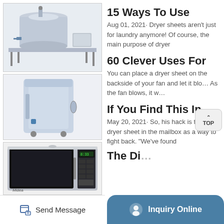[Figure (photo): Industrial stainless steel tank/centrifuge equipment on a platform]
[Figure (photo): Light blue/silver upright appliance or air cooler on wheels]
[Figure (photo): Midea black and silver countertop microwave oven]
15 Ways To Use
Aug 01, 2021· Dryer sheets aren't just for laundry anymore! Of course, the main purpose of dryer
60 Clever Uses For
You can place a dryer sheet on the backside of your fan and let it blo... As the fan blows, it w...
If You Find This In
May 20, 2021· So, his hack is to put a dryer sheet in the mailbox as a way to fight back. "We've found
The Di...
Send Message
Inquiry Online